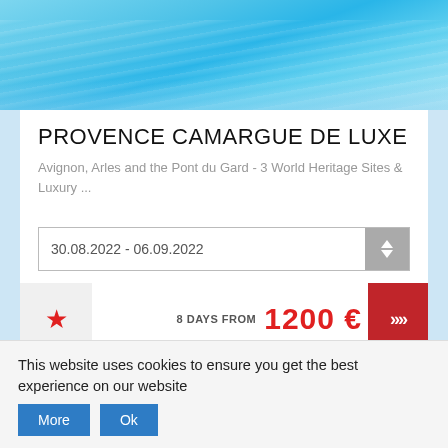[Figure (photo): Swimming pool with turquoise blue water, aerial/top-down partial view]
PROVENCE CAMARGUE DE LUXE
Avignon, Arles and the Pont du Gard - 3 World Heritage Sites & Luxury ...
30.08.2022 - 06.09.2022
8 DAYS FROM  1200 €
[Figure (photo): Partial bottom landscape photo with cliffs and sky]
This website uses cookies to ensure you get the best experience on our website